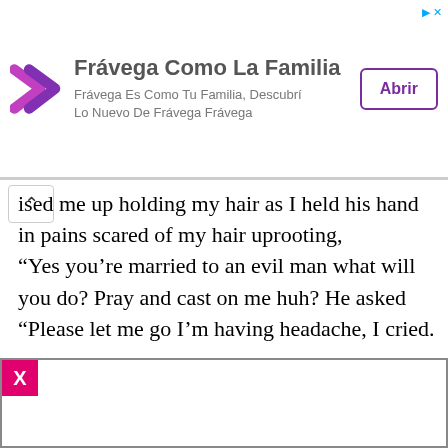[Figure (infographic): Advertisement banner for Frávega Como La Familia with logo, text, and Abrir button]
ised me up holding my hair as I held his hand in pains scared of my hair uprooting,
“Yes you’re married to an evil man what will you do? Pray and cast on me huh? He asked
“Please let me go I’m having headache, I cried.
[Figure (other): Bottom advertisement container with pink X close button]